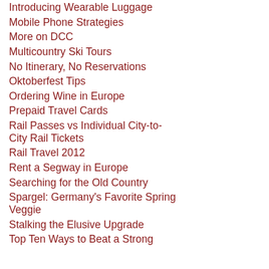Introducing Wearable Luggage
Mobile Phone Strategies
More on DCC
Multicountry Ski Tours
No Itinerary, No Reservations
Oktoberfest Tips
Ordering Wine in Europe
Prepaid Travel Cards
Rail Passes vs Individual City-to-City Rail Tickets
Rail Travel 2012
Rent a Segway in Europe
Searching for the Old Country
Spargel: Germany's Favorite Spring Veggie
Stalking the Elusive Upgrade
Top Ten Ways to Beat a Strong